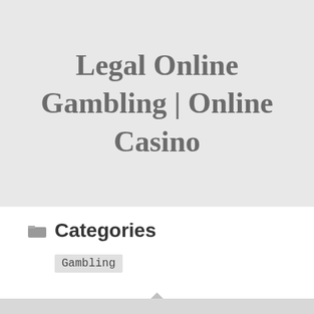Legal Online Gambling | Online Casino
Categories
Gambling
[Figure (other): Small diamond/rhombus decorative shape in light gray]
← Previous post   Next post →